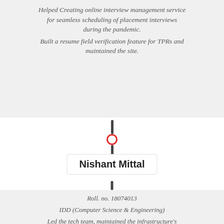Helped Creating online interview management service for seamless scheduling of placement interviews during the pandemic. Built a resume field verification feature for TPRs and maintained the site.
[Figure (infographic): Vertical timeline connector with a dark line going down, a red circle marker in the middle, and another dark line below]
Nishant Mittal
Roll. no. 18074013
IDD (Computer Science & Engineering)
Led the tech team, maintained the infrastructure's uptime in 2021-22.
Contributed to the idea, system design and celery deployment of the public preferences portal to help students fill their preferences accordingly.
Helped integrating Google Calendar with the online interview management service.
Built a resume field verification feature for TPRs and